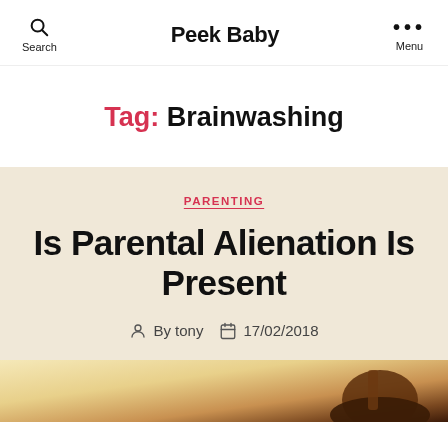Search  Peek Baby  Menu
Tag: Brainwashing
PARENTING
Is Parental Alienation Is Present
By tony  17/02/2018
[Figure (photo): Partial image of a gavel or legal item on a light background, partially visible at bottom of page]